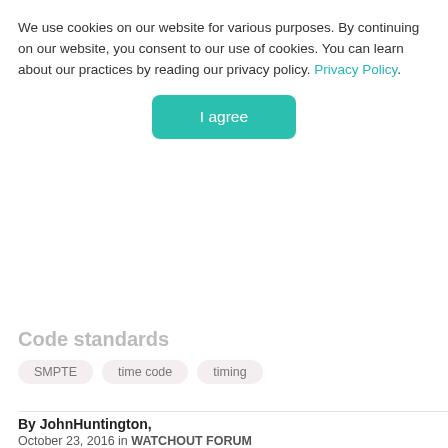We use cookies on our website for various purposes. By continuing on our website, you consent to our use of cookies. You can learn about our practices by reading our privacy policy. Privacy Policy.
[Figure (other): I agree button - teal/green rounded rectangle button]
Code standards
SMPTE
time code
timing
By JohnHuntington, October 23, 2016 in WATCHOUT FORUM
[Figure (other): Reply to this topic - purple/magenta button]
JohnHuntington Posted October 23, 2016